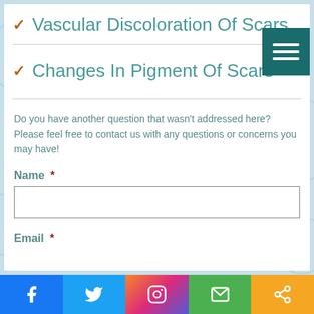Vascular Discoloration Of Scars
Changes In Pigment Of Scars
Do you have another question that wasn't addressed here? Please feel free to contact us with any questions or concerns you may have!
Name  *
Email  *